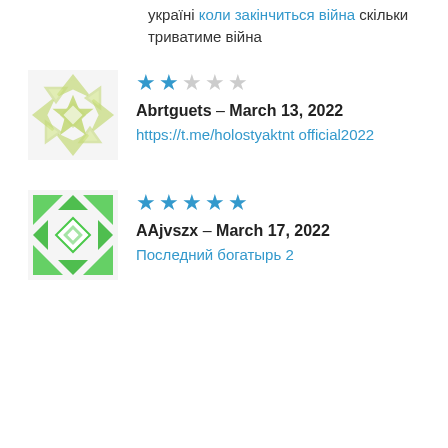україні коли закінчиться війна скільки триватиме війна
[Figure (illustration): Light green decorative geometric snowflake/star avatar icon]
★★☆☆☆ Abrtguets – March 13, 2022 https://t.me/holostyaktntofficial2022
[Figure (illustration): Bright green decorative geometric snowflake/star avatar icon]
★★★★★ AAjvszx – March 17, 2022 Последний богатырь 2